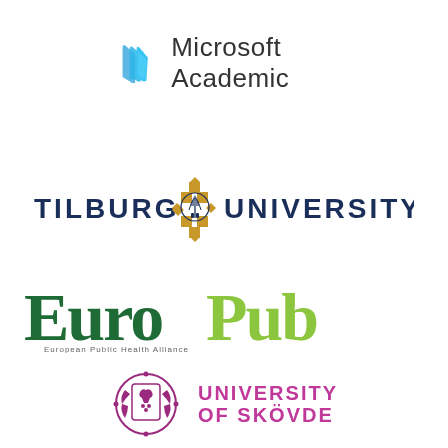[Figure (logo): Microsoft Academic logo with blue stylized pages icon and text 'Microsoft Academic' in dark gray]
[Figure (logo): Tilburg University logo with gold diamond pattern, central crest with tree, and text 'TILBURG UNIVERSITY' in dark navy blue]
[Figure (logo): EuroPub logo with 'Euro' in dark green and 'Pub' in lime green, large bold serif font]
[Figure (logo): University of Skövde logo with purple/magenta crest and text 'UNIVERSITY OF SKÖVDE' in magenta]